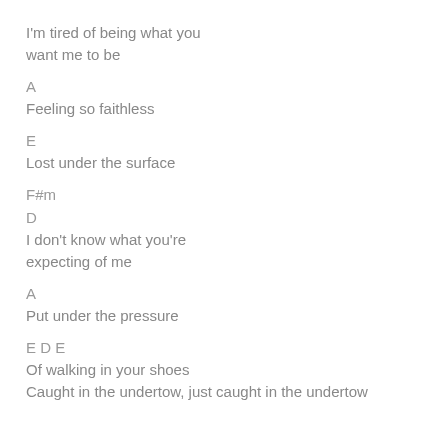I'm tired of being what you want me to be
A
Feeling so faithless
E
Lost under the surface
F#m
D
I don't know what you're expecting of me
A
Put under the pressure
E D E
Of walking in your shoes
Caught in the undertow, just caught in the undertow